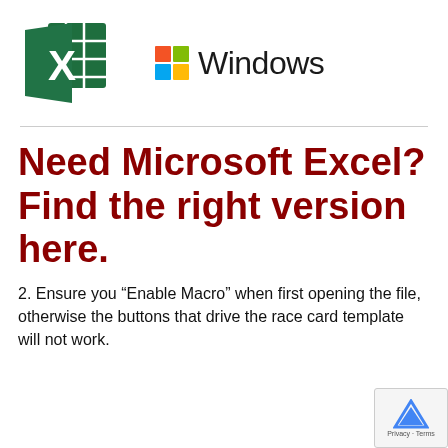[Figure (logo): Microsoft Excel logo (green icon with X) and Windows logo (four-color flag) with 'Windows' text]
Need Microsoft Excel? Find the right version here.
2. Ensure you “Enable Macro” when first opening the file, otherwise the buttons that drive the race card template will not work.